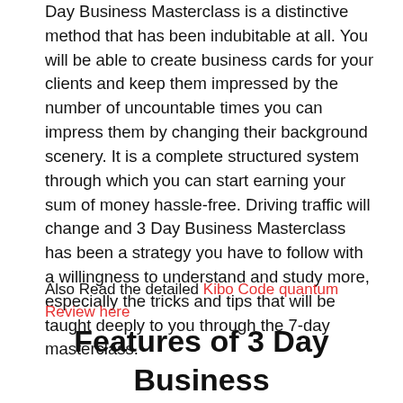Day Business Masterclass is a distinctive method that has been indubitable at all. You will be able to create business cards for your clients and keep them impressed by the number of uncountable times you can impress them by changing their background scenery. It is a complete structured system through which you can start earning your sum of money hassle-free. Driving traffic will change and 3 Day Business Masterclass has been a strategy you have to follow with a willingness to understand and study more, especially the tricks and tips that will be taught deeply to you through the 7-day masterclass.
Also Read the detailed Kibo Code quantum Review here
Features of 3 Day Business Masterclass